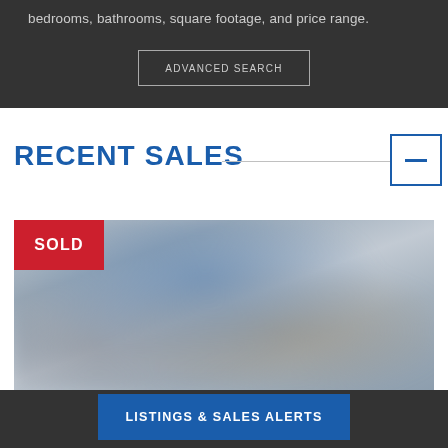bedrooms, bathrooms, square footage, and price range.
ADVANCED SEARCH
RECENT SALES
[Figure (photo): Interior room photo, blurred, showing furniture and decor with blue and neutral tones. A red SOLD badge overlays the top-left corner.]
LISTINGS & SALES ALERTS